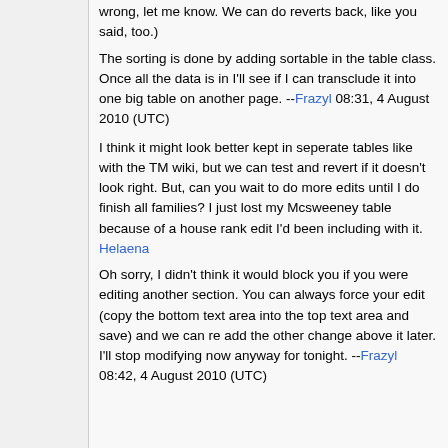wrong, let me know. We can do reverts back, like you said, too.)
The sorting is done by adding sortable in the table class. Once all the data is in I'll see if I can transclude it into one big table on another page. --Frazyl 08:31, 4 August 2010 (UTC)
I think it might look better kept in seperate tables like with the TM wiki, but we can test and revert if it doesn't look right. But, can you wait to do more edits until I do finish all families? I just lost my Mcsweeney table because of a house rank edit I'd been including with it. Helaena
Oh sorry, I didn't think it would block you if you were editing another section. You can always force your edit (copy the bottom text area into the top text area and save) and we can re add the other change above it later. I'll stop modifying now anyway for tonight. --Frazyl 08:42, 4 August 2010 (UTC)